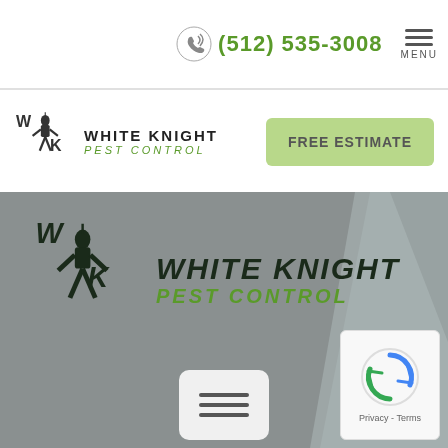(512) 535-3008  MENU
[Figure (logo): White Knight Pest Control logo with knight figure in nav bar]
FREE ESTIMATE
[Figure (logo): White Knight Pest Control large logo displayed in hero section with knight figure, text WHITE KNIGHT PEST CONTROL]
[Figure (other): Menu popup button with three horizontal lines]
[Figure (other): reCAPTCHA badge with privacy terms]